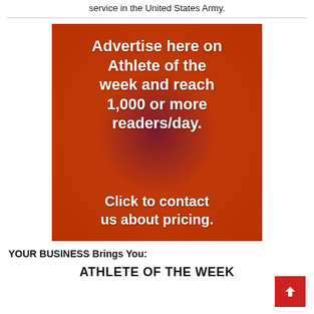service in the United States Army.
[Figure (infographic): Orange/red advertisement banner with text: 'Advertise here on Athlete of the week and reach 1,000 or more readers/day. Click to contact us about pricing.']
YOUR BUSINESS Brings You:
ATHLETE OF THE WEEK